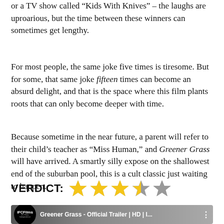or a TV show called “Kids With Knives” – the laughs are uproarious, but the time between these winners can sometimes get lengthy.
For most people, the same joke five times is tiresome. But for some, that same joke fifteen times can become an absurd delight, and that is the space where this film plants roots that can only become deeper with time.
Because sometime in the near future, a parent will refer to their child’s teacher as “Miss Human,” and Greener Grass will have arrived. A smartly silly expose on the shallowest end of the suburban pool, this is a cult classic just waiting to happen.
VERDICT: ★★★★☆ (3.5 out of 5 stars)
[Figure (screenshot): Video thumbnail for IFC Films: Greener Grass - Official Trailer | HD | I...]